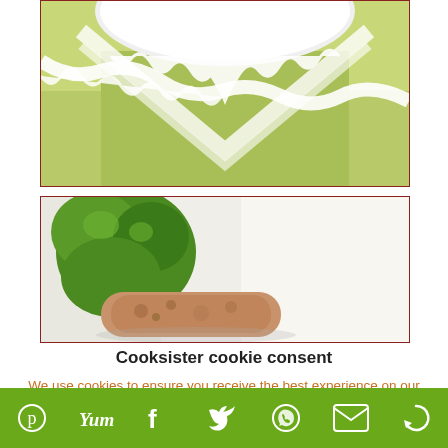[Figure (photo): Close-up photo of white lace-trimmed napkins or doilies on a green linen background, with the lacy edges forming a V-shape pattern.]
[Figure (photo): Close-up photo of a food dish with green garnish/herb and a browned/cooked meat or cookie item, against a blurred white background.]
Cooksister cookie consent
We use cookies to ensure you receive the best experience on our site. If you continue to use this site, you are agreeing to our
[Figure (infographic): Social sharing toolbar with icons for Pinterest, Yummly, Facebook, Twitter, WhatsApp, Email, and More options on a green background.]